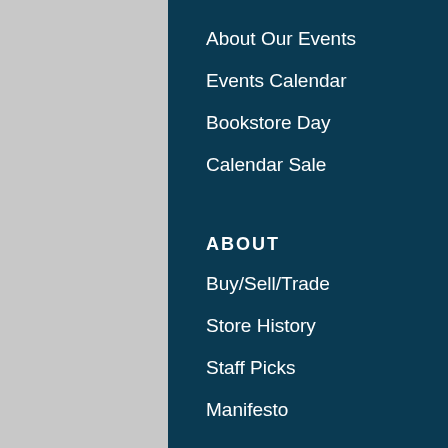About Our Events
Events Calendar
Bookstore Day
Calendar Sale
ABOUT
Buy/Sell/Trade
Store History
Staff Picks
Manifesto
CONTACT
Store Hours
Newsletter